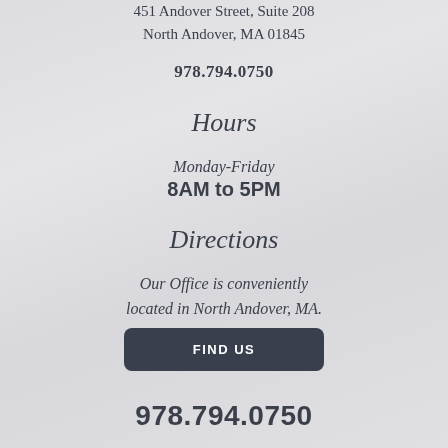451 Andover Street, Suite 208
North Andover, MA 01845
978.794.0750
Hours
Monday-Friday
8AM to 5PM
Directions
Our Office is conveniently located in North Andover, MA.
FIND US
978.794.0750